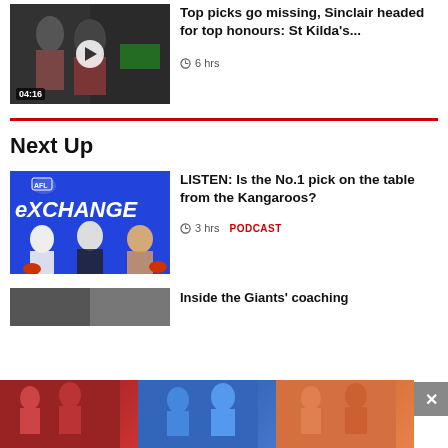[Figure (screenshot): Video thumbnail showing AFL players with a play button and time stamp 04:16]
Top picks go missing, Sinclair headed for top honours: St Kilda's...
6 hrs
Next Up
[Figure (screenshot): AFL Exchange podcast thumbnail with blue background showing three hosts]
LISTEN: Is the No.1 pick on the table from the Kangaroos?
3 hrs  PODCAST
Inside the Giants' coaching
[Figure (photo): Advertisement banner with AFL women's teams photos at the bottom of the page]